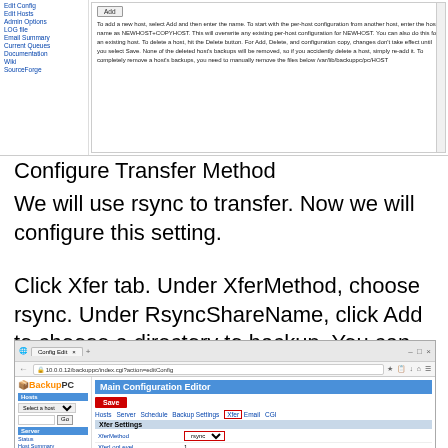[Figure (screenshot): BackupPC web interface showing host configuration panel with Add button and explanatory text, left navigation with links like Edit Config, Edit Hosts, Admin Options, LOG file, Email Summary, Current Queues, Documentation, Wiki, SourceForge]
Configure Transfer Method
We will use rsync to transfer. Now we will configure this setting.
Click Xfer tab. Under XferMethod, choose rsync. Under RsyncShareName, click Add to choose a directory to backup. You can leave it as “/” to backto the entire the computer if you want.
[Figure (screenshot): BackupPC Config Edit browser screenshot showing Main Configuration Editor with Save button, navigation tabs (Hosts, Server, Schedule, Backup Settings, Xfer highlighted in red box, Email, CGI), Xfer Settings section with XferMethod set to rsync dropdown (highlighted), XferLogLevel, ClientCharset fields]